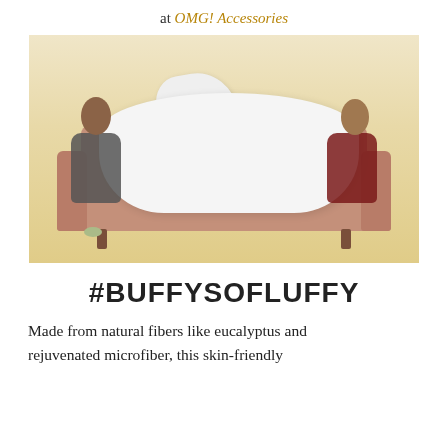at OMG! Accessories
[Figure (photo): Two young women lying on opposite ends of a brown sofa, sharing a large white comforter/duvet with a pillow, against a pale yellow background. A small bowl sits on the floor near the left person's feet.]
#BUFFYSOFLUFFY
Made from natural fibers like eucalyptus and rejuvenated microfiber, this skin-friendly